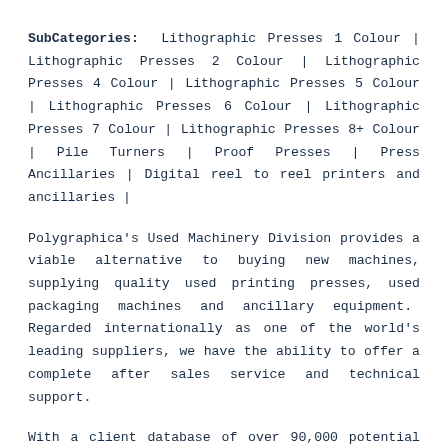SubCategories: Lithographic Presses 1 Colour | Lithographic Presses 2 Colour | Lithographic Presses 4 Colour | Lithographic Presses 5 Colour | Lithographic Presses 6 Colour | Lithographic Presses 7 Colour | Lithographic Presses 8+ Colour | Pile Turners | Proof Presses | Press Ancillaries | Digital reel to reel printers and ancillaries |
Polygraphica's Used Machinery Division provides a viable alternative to buying new machines, supplying quality used printing presses, used packaging machines and ancillary equipment. Regarded internationally as one of the world's leading suppliers, we have the ability to offer a complete after sales service and technical support.
With a client database of over 90,000 potential customers